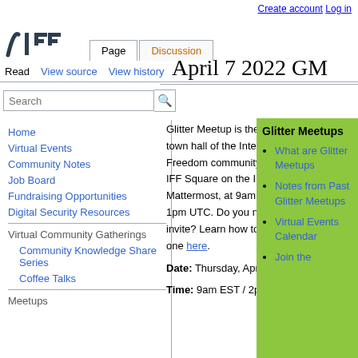Create account  Log in
[Figure (logo): IFF wiki logo - stylized letters in dark color]
April 7 2022 GM
Glitter Meetup is the weekly town hall of the Internet Freedom community at the IFF Square on the IFF Mattermost, at 9am EST / 1pm UTC. Do you need an invite? Learn how to get one here.
Date: Thursday, April 7th
Time: 9am EST / 2pm
Home
Virtual Events
Community Notes
Job Board
Fundraising Opportunities
Digital Security Resources
Virtual Community Gatherings
Community Knowledge Share Series
Coffee Talks
Glitter Meetups
What are Glitter Meetups
Notes from Past Glitter Meetups
Virtual Events Calendar
Join the